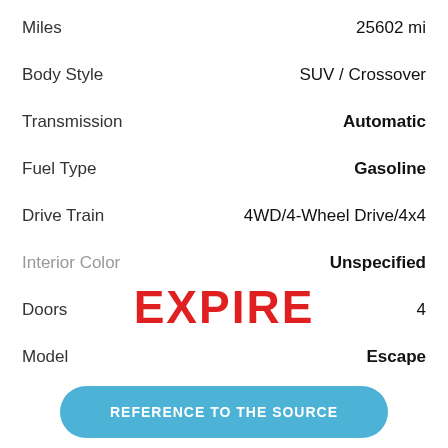Miles  25602 mi
Body Style  SUV / Crossover
Transmission  Automatic
Fuel Type  Gasoline
Drive Train  4WD/4-Wheel Drive/4x4
Interior Color  Unspecified
Doors  4
Model  Escape
EXPIRE
REFERENCE TO THE SOURCE